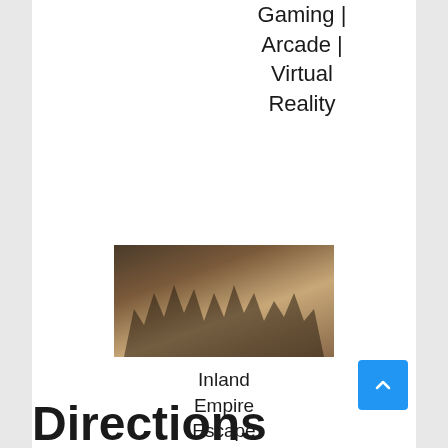Gaming | Arcade | Virtual Reality
[Figure (photo): Group of people posing together, holding certificates or papers, in a dark indoor setting]
Inland Empire Escape Rooms Riverside
Directions